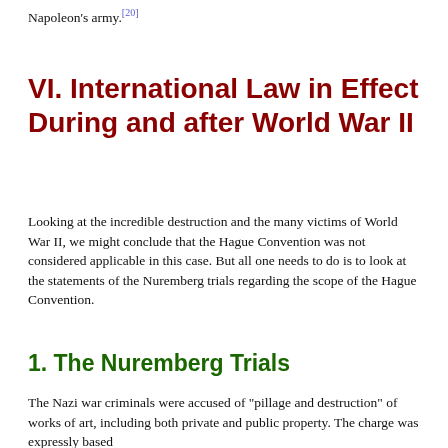Napoleon's army.[20]
VI.  International Law in Effect During and after World War II
Looking at the incredible destruction and the many victims of World War II, we might conclude that the Hague Convention was not considered applicable in this case. But all one needs to do is to look at the statements of the Nuremberg trials regarding the scope of the Hague Convention.
1. The Nuremberg Trials
The Nazi war criminals were accused of "pillage and destruction" of works of art, including both private and public property. The charge was expressly based